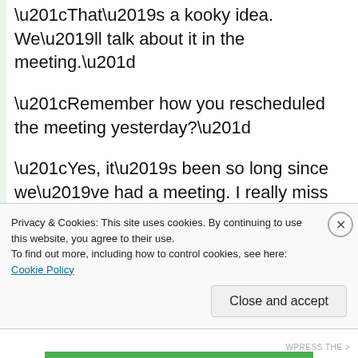“That’s a kooky idea. We’ll talk about it in the meeting.”
“Remember how you rescheduled the meeting yesterday?”
“Yes, it’s been so long since we’ve had a meeting. I really miss our meetings.”
“Perhaps you could write a note about impolite blogging for the bear and leave it on the refrigerator? The…”
Privacy & Cookies: This site uses cookies. By continuing to use this website, you agree to their use.
To find out more, including how to control cookies, see here: Cookie Policy
Close and accept